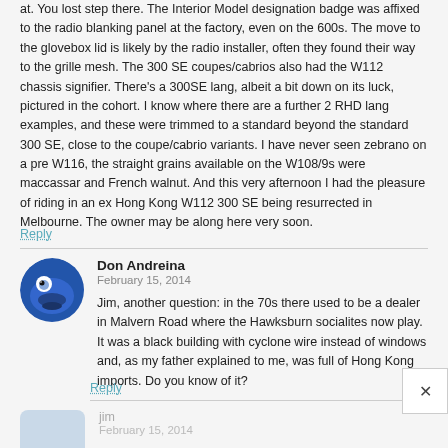at. You lost step there. The Interior Model designation badge was affixed to the radio blanking panel at the factory, even on the 600s. The move to the glovebox lid is likely by the radio installer, often they found their way to the grille mesh. The 300 SE coupes/cabrios also had the W112 chassis signifier. There's a 300SE lang, albeit a bit down on its luck, pictured in the cohort. I know where there are a further 2 RHD lang examples, and these were trimmed to a standard beyond the standard 300 SE, close to the coupe/cabrio variants. I have never seen zebrano on a pre W116, the straight grains available on the W108/9s were maccassar and French walnut. And this very afternoon I had the pleasure of riding in an ex Hong Kong W112 300 SE being resurrected in Melbourne. The owner may be along here very soon.
Reply
Don Andreina
February 15, 2014
Jim, another question: in the 70s there used to be a dealer in Malvern Road where the Hawksburn socialites now play. It was a black building with cyclone wire instead of windows and, as my father explained to me, was full of Hong Kong imports. Do you know of it?
Reply
jim
February 15, 2014